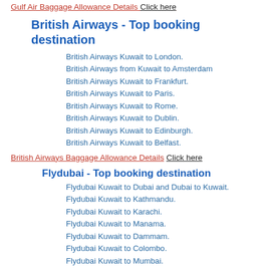Gulf Air Baggage Allowance Details Click here
British Airways - Top booking destination
British Airways Kuwait to London.
British Airways from Kuwait to Amsterdam
British Airways Kuwait to Frankfurt.
British Airways Kuwait to Paris.
British Airways Kuwait to Rome.
British Airways Kuwait to Dublin.
British Airways Kuwait to Edinburgh.
British Airways Kuwait to Belfast.
British Airways Baggage Allowance Details Click here
Flydubai - Top booking destination
Flydubai Kuwait to Dubai and Dubai to Kuwait.
Flydubai Kuwait to Kathmandu.
Flydubai Kuwait to Karachi.
Flydubai Kuwait to Manama.
Flydubai Kuwait to Dammam.
Flydubai Kuwait to Colombo.
Flydubai Kuwait to Mumbai.
Flydubai Kuwait to Kozhikode.
Flydubai Kuwait to Ahmedabad.